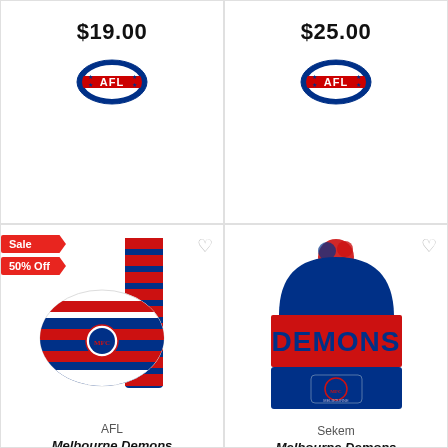$19.00
[Figure (logo): AFL logo - oval shaped logo with AFL text, blue and red colors]
$25.00
[Figure (logo): AFL logo - oval shaped logo with AFL text, blue and red colors]
[Figure (photo): Melbourne Demons AFL Babies Beanie and Scarf Set - red and navy striped beanie and scarf with Melbourne Demons logo]
AFL
Melbourne Demons AFL Babies Beanie & Scarf Set
[Figure (photo): Melbourne Demons AFL Bar Beanie - navy and red beanie with DEMONS text and pom pom on top]
Sekem
Melbourne Demons AFL Bar Beanie